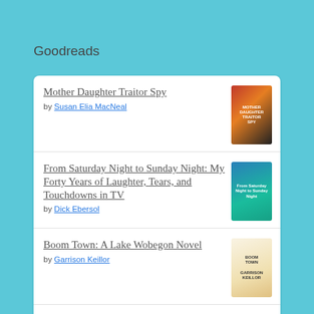Goodreads
Mother Daughter Traitor Spy by Susan Elia MacNeal
From Saturday Night to Sunday Night: My Forty Years of Laughter, Tears, and Touchdowns in TV by Dick Ebersol
Boom Town: A Lake Wobegon Novel by Garrison Keillor
The Double Jinx Mystery